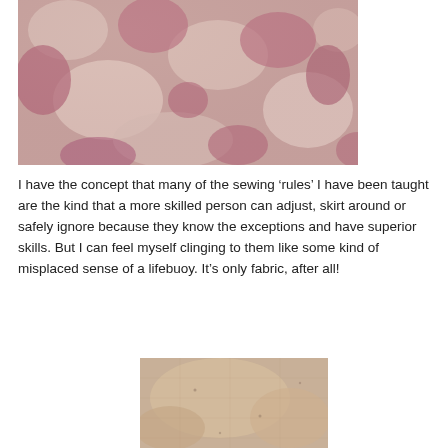[Figure (photo): Close-up photo of pink and cream floral patterned fabric]
I have the concept that many of the sewing ‘rules’ I have been taught are the kind that a more skilled person can adjust, skirt around or safely ignore because they know the exceptions and have superior skills. But I can feel myself clinging to them like some kind of misplaced sense of a lifebuoy. It’s only fabric, after all!
[Figure (photo): Close-up photo of beige/cream textured fabric]